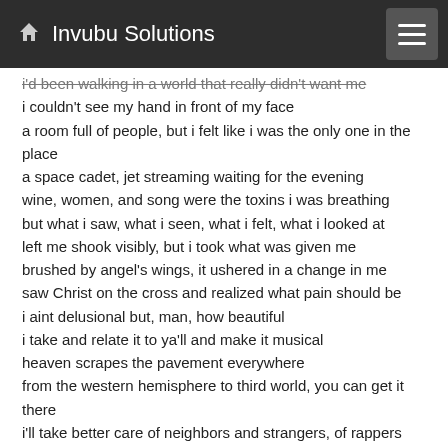Invubu Solutions
i'd been walking in a world that really didn't want me
i couldn't see my hand in front of my face
a room full of people, but i felt like i was the only one in the place
a space cadet, jet streaming waiting for the evening
wine, women, and song were the toxins i was breathing
but what i saw, what i seen, what i felt, what i looked at
left me shook visibly, but i took what was given me
brushed by angel's wings, it ushered in a change in me
saw Christ on the cross and realized what pain should be
i aint delusional but, man, how beautiful
i take and relate it to ya'll and make it musical
heaven scrapes the pavement everywhere
from the western hemisphere to third world, you can get it there
i'll take better care of neighbors and strangers, of rappers and djs
of breakers and painters, of my wife and my daughters,